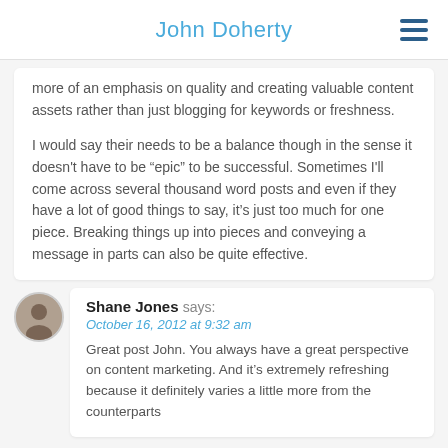John Doherty
more of an emphasis on quality and creating valuable content assets rather than just blogging for keywords or freshness.

I would say their needs to be a balance though in the sense it doesn't have to be “epic” to be successful. Sometimes I'll come across several thousand word posts and even if they have a lot of good things to say, it’s just too much for one piece. Breaking things up into pieces and conveying a message in parts can also be quite effective.
Shane Jones says:
October 16, 2012 at 9:32 am
Great post John. You always have a great perspective on content marketing. And it’s extremely refreshing because it definitely varies a little more from the counterparts